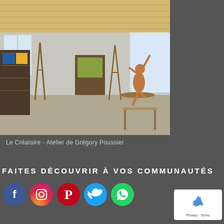[Figure (photo): Interior of an artist's studio (Le Créatoire - Atelier de Grégory Poussier) showing easels, shelves with art materials, paintings, and a clay/terracotta sculpture of a dancing figure in the foreground on a table. The room has a wooden ceiling and large windows.]
Le Créatoire - Atelier de Grégory Poussier
FAITES DÉCOUVRIR À VOS COMMUNAUTÉS
[Figure (other): Row of five social media icons: Facebook (blue circle with f), Instagram (gradient circle with camera icon), Pinterest (red circle with P), Twitter (light blue circle with bird), WhatsApp (green circle with phone icon)]
[Figure (other): Google reCAPTCHA badge showing a recycling-arrow logo with 'Privacy - Terms' text below it, on a white rounded rectangle background]